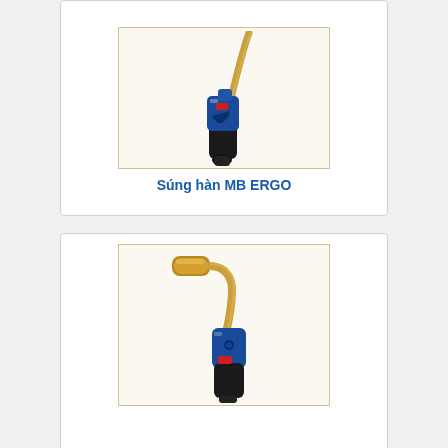[Figure (photo): Photo of MB ERGO welding gun/torch — blue and black handle with gold/brass curved neck and hose, pointing upward]
Súng hàn MB ERGO
[Figure (photo): Photo of a second welding torch/gun — blue and black handle with red accent button, gold brass curved neck with large cylindrical nozzle tip, similar MB ERGO style]